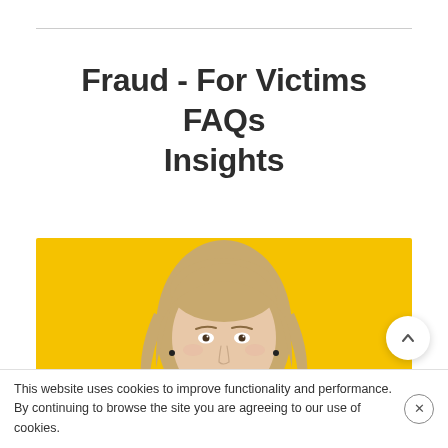Fraud - For Victims FAQs Insights
[Figure (photo): Professional headshot of a blonde woman in a black top against a yellow background]
This website uses cookies to improve functionality and performance. By continuing to browse the site you are agreeing to our use of cookies.